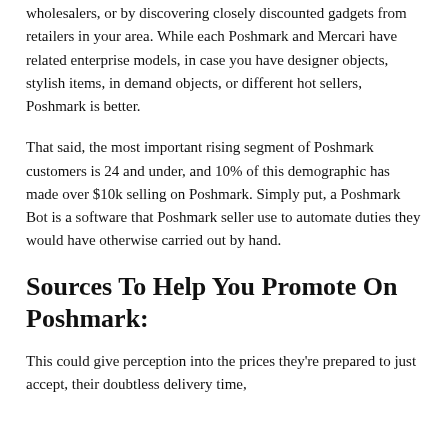wholesalers, or by discovering closely discounted gadgets from retailers in your area. While each Poshmark and Mercari have related enterprise models, in case you have designer objects, stylish items, in demand objects, or different hot sellers, Poshmark is better.
That said, the most important rising segment of Poshmark customers is 24 and under, and 10% of this demographic has made over $10k selling on Poshmark. Simply put, a Poshmark Bot is a software that Poshmark seller use to automate duties they would have otherwise carried out by hand.
Sources To Help You Promote On Poshmark:
This could give perception into the prices they're prepared to just accept, their doubtless delivery time, and if their item is competitive from one of...